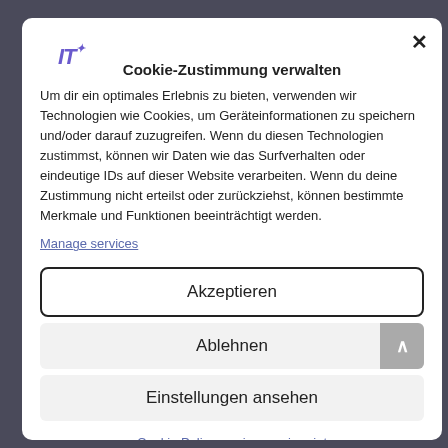[Figure (logo): IT logo in purple italic bold text]
Cookie-Zustimmung verwalten
Um dir ein optimales Erlebnis zu bieten, verwenden wir Technologien wie Cookies, um Geräteinformationen zu speichern und/oder darauf zuzugreifen. Wenn du diesen Technologien zustimmst, können wir Daten wie das Surfverhalten oder eindeutige IDs auf dieser Website verarbeiten. Wenn du deine Zustimmung nicht erteilst oder zurückziehst, können bestimmte Merkmale und Funktionen beeinträchtigt werden.
Manage services
Akzeptieren
Ablehnen
Einstellungen ansehen
Cookie Policy  privacy  imprint